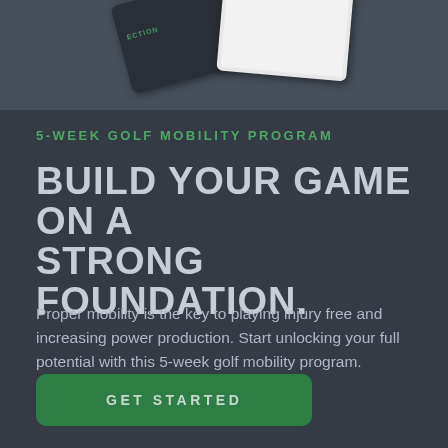[Figure (photo): Top image area showing two cards/booklets – a dark card on the left and a light/white card on the right, partially visible, set against a dark gray background.]
5-WEEK GOLF MOBILITY PROGRAM
BUILD YOUR GAME ON A STRONG FOUNDATION.
Proper mobility is the key to playing injury free and increasing power production. Start unlocking your full potential with this 5-week golf mobility program.
GET STARTED